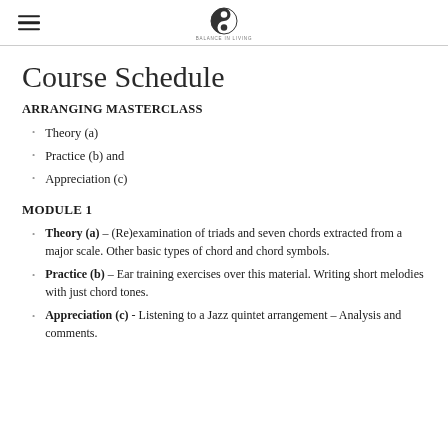Course Schedule — Arranging Masterclass (header with logo)
Course Schedule
ARRANGING MASTERCLASS
Theory (a)
Practice (b) and
Appreciation (c)
MODULE 1
Theory (a) – (Re)examination of triads and seven chords extracted from a major scale. Other basic types of chord and chord symbols.
Practice (b) – Ear training exercises over this material. Writing short melodies with just chord tones.
Appreciation (c) - Listening to a Jazz quintet arrangement – Analysis and comments.